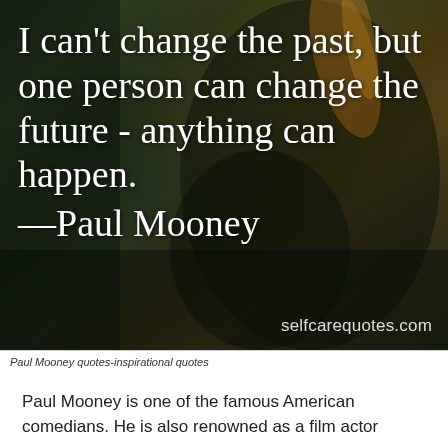[Figure (photo): Dark moody background photo of a person with warm bokeh tones, overlaid with a quote in large white serif text reading: I can't change the past, but one person can change the future - anything can happen. —Paul Mooney. Bottom right watermark: selfcarequotes.com]
Paul Mooney quotes-inspirational quotes
Paul Mooney is one of the famous American comedians. He is also renowned as a film actor